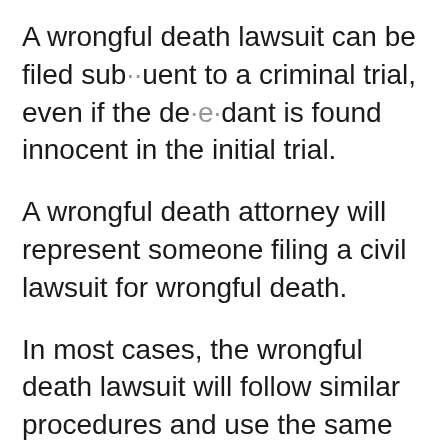A wrongful death lawsuit can be filed subsequent to a criminal trial, even if the defendant is found innocent in the initial trial.
A wrongful death attorney will represent someone filing a civil lawsuit for wrongful death.
In most cases, the wrongful death lawsuit will follow similar procedures and use the same evidence as a criminal trial.
Because the defendant is being tried for damages, rather than a crime, the